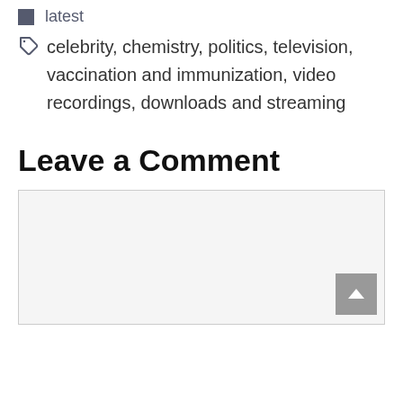latest
celebrity, chemistry, politics, television, vaccination and immunization, video recordings, downloads and streaming
Leave a Comment
[Figure (other): Comment text area input box (empty, light grey background with border)]